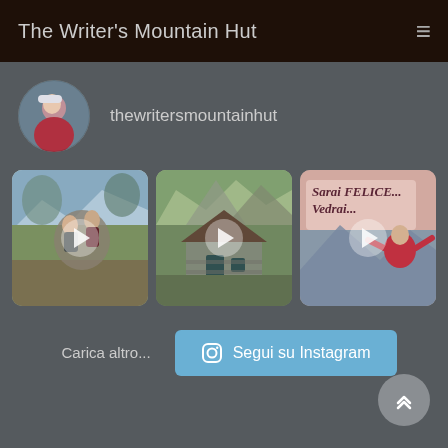The Writer's Mountain Hut
thewritersmountainhut
[Figure (photo): Three Instagram video thumbnails: two women sitting on rocks in a mountain meadow; a mountain hut with stone facade; a woman in red jacket with text overlay 'Sarai FELICE... Vedrai...']
Carica altro...
Segui su Instagram